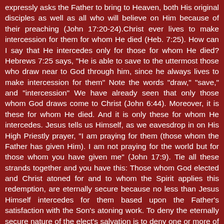expressly asks the Father to bring to Heaven, both His original disciples as well as all who will believe on Him because of their preaching (John 17:20-24).Christ ever lives to make intercession for them for whom He died (Heb. 7:25). How can I say that He intercedes only for those for whom He died? Hebrews 7:25 says, "He is able to save to the uttermost those who draw near to God through him, since he always lives to make intercession for them" Note the words "draw," "save," and "intercession" We have already seen that only those whom God draws come to Christ (John 6:44). Moreover, it is these for whom He died. And it is only these for whom He intercedes. Jesus tells us Himself, as we eavesdrop in on His High Priestly prayer, "I am praying for them (those whom the Father has given Him). I am not praying for the world but for those whom you have given me" (John 17:9). Tie all these strands together and you have this: Those whom God elected and Christ atoned for and to whom the Spirit applies this redemption, are eternally secure because no less than Jesus Himself intercedes for them based upon the Father's satisfaction with the Son's atoning work. To deny the eternally secure nature of the elect's salvation is to deny one or more of the aforementioned